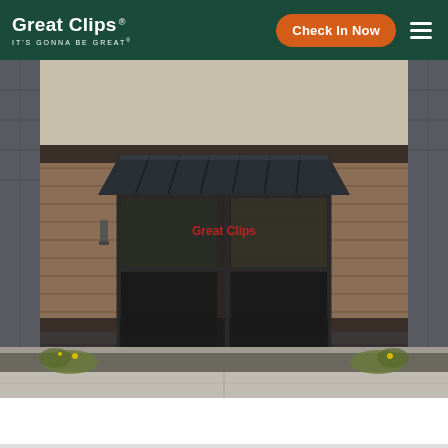[Figure (logo): Great Clips logo with text 'Great Clips' and tagline 'IT'S GONNA BE GREAT']
[Figure (other): Orange rounded rectangle button labeled 'Check In Now']
[Figure (photo): Exterior photo of a Great Clips hair salon storefront with brick facade, dark metal awning, large glass doors with Great Clips red neon sign visible inside, sidewalk and parking lot in foreground]